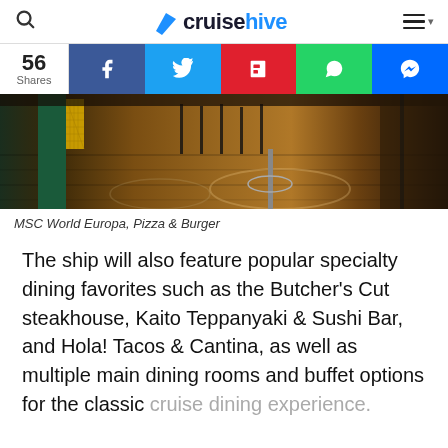cruisehive
[Figure (photo): Interior of MSC World Europa Pizza & Burger restaurant showing wooden floors, bar stools, colorful yellow and green tile pillar, and circular ceiling features.]
MSC World Europa, Pizza & Burger
The ship will also feature popular specialty dining favorites such as the Butcher's Cut steakhouse, Kaito Teppanyaki & Sushi Bar, and Hola! Tacos & Cantina, as well as multiple main dining rooms and buffet options for the classic cruise dining experience.